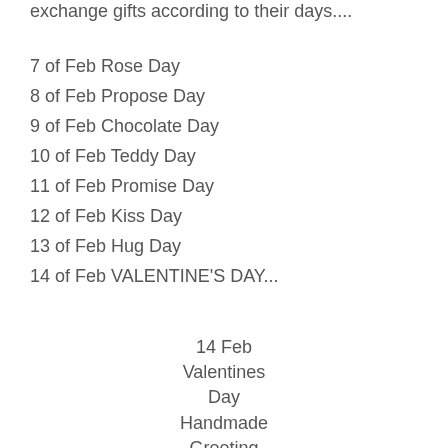exchange gifts according to their days....
7 of Feb Rose Day
8 of Feb Propose Day
9 of Feb Chocolate Day
10 of Feb Teddy Day
11 of Feb Promise Day
12 of Feb Kiss Day
13 of Feb Hug Day
14 of Feb VALENTINE'S DAY...
14 Feb
Valentines
Day
Handmade
Greeting
Images For
Friends